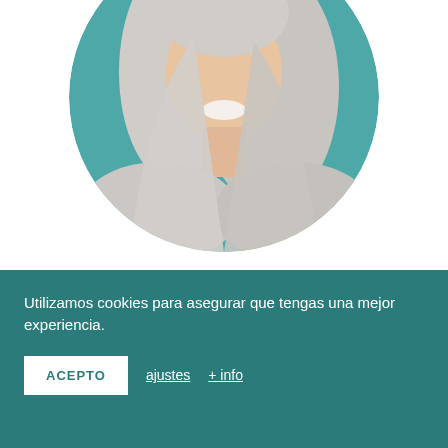[Figure (photo): Circular profile photo of a smiling woman with long silver/grey hair against a teal background]
Ana Palomo
Licenciada en Medicina,
Utilizamos cookies para asegurar que tengas una mejor experiencia.
ACEPTO   ajustes   + info